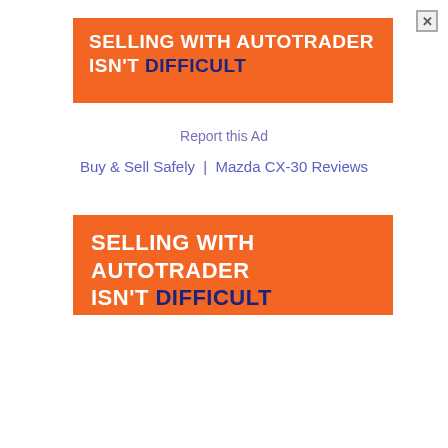[Figure (other): Close button (X) in top-right corner]
[Figure (other): Orange Autotrader banner ad with text: SELLING WITH AUTOTRADER ISN'T DIFFICULT (top banner)]
Report this Ad
Buy & Sell Safely  |  Mazda CX-30 Reviews
[Figure (other): Orange Autotrader banner ad with text: SELLING WITH AUTOTRADER ISN'T DIFFICULT (bottom banner)]